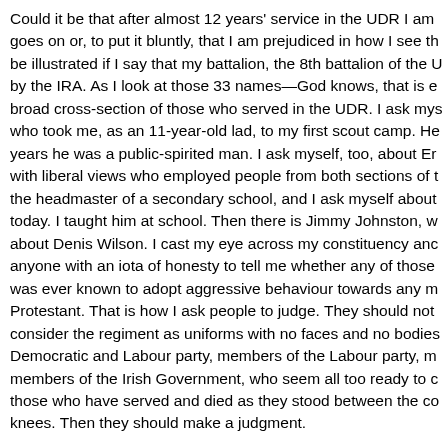Could it be that after almost 12 years' service in the UDR I am goes on or, to put it bluntly, that I am prejudiced in how I see th be illustrated if I say that my battalion, the 8th battalion of the U by the IRA. As I look at those 33 names—God knows, that is e broad cross-section of those who served in the UDR. I ask mys who took me, as an 11-year-old lad, to my first scout camp. He years he was a public-spirited man. I ask myself, too, about Er with liberal views who employed people from both sections of t the headmaster of a secondary school, and I ask myself about today. I taught him at school. Then there is Jimmy Johnston, w about Denis Wilson. I cast my eye across my constituency anc anyone with an iota of honesty to tell me whether any of those was ever known to adopt aggressive behaviour towards any m Protestant. That is how I ask people to judge. They should not consider the regiment as uniforms with no faces and no bodies Democratic and Labour party, members of the Labour party, m members of the Irish Government, who seem all too ready to c those who have served and died as they stood between the co knees. Then they should make a judgment.